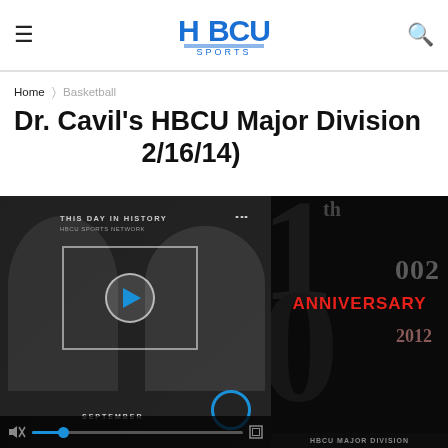HBCU Sports — Navigation bar with hamburger menu, HBCU Sports logo, and search icon
Home > Basketball
Dr. Cavil's HBCU Major Division (2/16/14)
[Figure (screenshot): Embedded video player showing 'This Day In History' with two people in background, play button, September label, progress bar, and an anniversary graphic on the right showing '10th ANNIVERSARY 2002 2012' text in red and dark tones with HBCU Major Division branding]